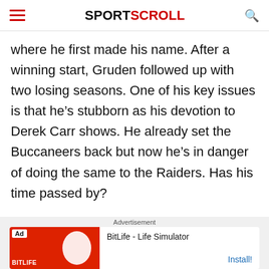SPORTSCROLL
where he first made his name. After a winning start, Gruden followed up with two losing seasons. One of his key issues is that he’s stubborn as his devotion to Derek Carr shows. He already set the Buccaneers back but now he’s in danger of doing the same to the Raiders. Has his time passed by?
Advertisement
BitLife - Life Simulator
Install!